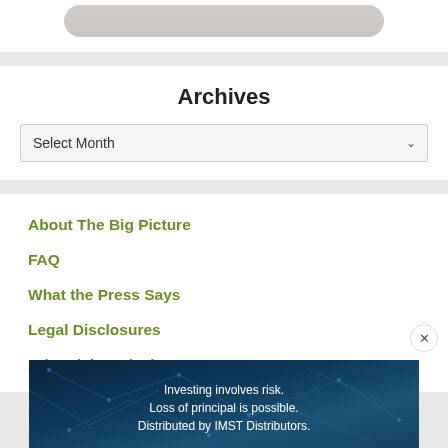[Figure (illustration): Partial view of a rounded button or badge element at the top of the page]
Archives
Select Month
About The Big Picture
FAQ
What the Press Says
Legal Disclosures
Advertising Disclosures
[Figure (infographic): Dark blue network-themed advertisement banner with text: Investing involves risk. Loss of principal is possible. Distributed by IMST Distributors.]